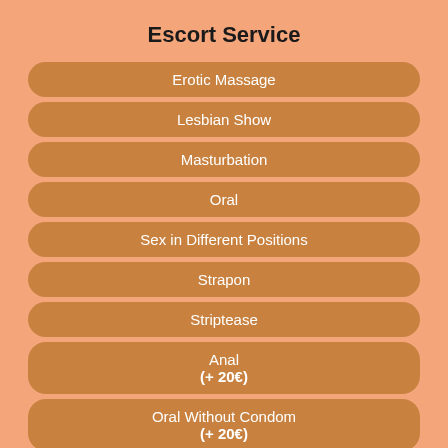Escort Service
Erotic Massage
Lesbian Show
Masturbation
Oral
Sex in Different Positions
Strapon
Striptease
Anal
(+ 20€)
Oral Without Condom
(+ 20€)
Location: Athens